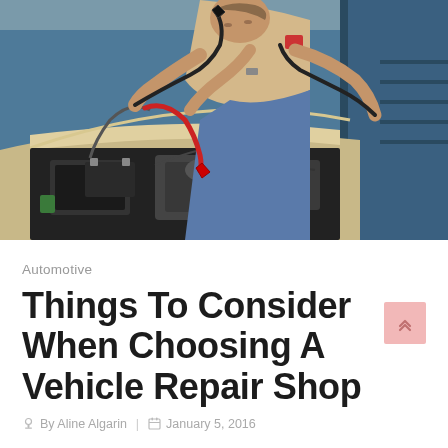[Figure (photo): A mechanic in a beige shirt and jeans leaning over an open car hood, attaching jumper cables with red and black clamps to a car battery in an auto repair shop setting.]
Automotive
Things To Consider When Choosing A Vehicle Repair Shop
By Aline Algarin  |  January 5, 2016